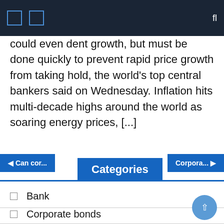Navigation bar with icons
could even dent growth, but must be done quickly to prevent rapid price growth from taking hold, the world's top central bankers said on Wednesday. Inflation hits multi-decade highs around the world as soaring energy prices, [...]
Categories
Bank
Corporate bonds
Credit cards
Credit score
Financial institutions